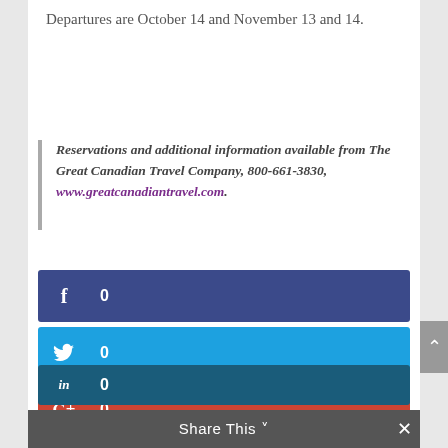Departures are October 14 and November 13 and 14.
Reservations and additional information available from The Great Canadian Travel Company, 800-661-3830, www.greatcanadiantravel.com.
[Figure (infographic): Social share buttons: Facebook (0), Twitter (0), Google+ (0), Pinterest (0), LinkedIn (0), with Share This bar at bottom]